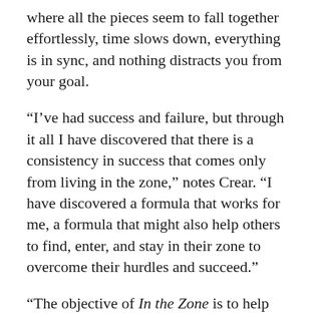where all the pieces seem to fall together effortlessly, time slows down, everything is in sync, and nothing distracts you from your goal.
“I’ve had success and failure, but through it all I have discovered that there is a consistency in success that comes only from living in the zone,” notes Crear. “I have discovered a formula that works for me, a formula that might also help others to find, enter, and stay in their zone to overcome their hurdles and succeed.”
“The objective of In the Zone is to help readers by offering principles that have worked for me. The course of my life has taken me through painful relationships, disappointments, betrayal, and defeat. I’ve been tripped up and made false starts, but